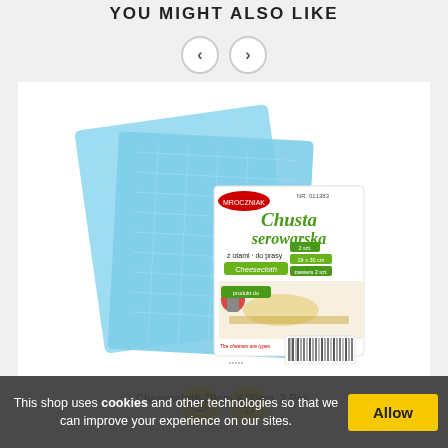YOU MIGHT ALSO LIKE
[Figure (photo): Navigation arrows (left and right) for a product carousel]
[Figure (photo): Product photo of Cheesecloth 19cm X 30cm, 2 Pcs. — blue fabric cloths with product packaging labeled 'Chusta serowarska / Cheesecloth']
[Figure (infographic): Two yellow circular action buttons: eye/view icon and shopping cart icon]
Cheesecloth 19cm X 30cm, 2 Pcs.
This shop uses cookies and other technologies so that we can improve your experience on our sites.